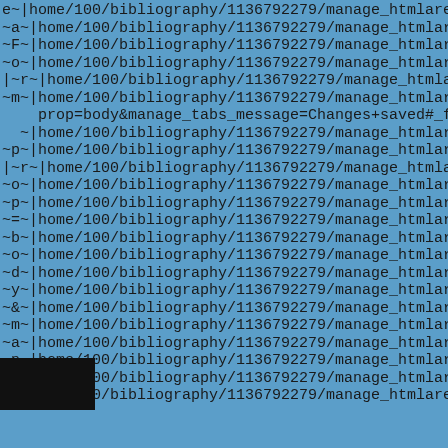e~|home/100/bibliography/1136792279/manage_htmlareaForm?
a~|home/100/bibliography/1136792279/manage_htmlareaForm?
~F~|home/100/bibliography/1136792279/manage_htmlareaForm?
~o~|home/100/bibliography/1136792279/manage_htmlareaForm?
|~r~|home/100/bibliography/1136792279/manage_htmlareaForm?
~m~|home/100/bibliography/1136792279/manage_htmlareaForm?
prop=body&manage_tabs_message=Changes+saved#_ftn5|~?
~|home/100/bibliography/1136792279/manage_htmlareaForm?
~p~|home/100/bibliography/1136792279/manage_htmlareaForm?
|~r~|home/100/bibliography/1136792279/manage_htmlareaForm?
~o~|home/100/bibliography/1136792279/manage_htmlareaForm?
~p~|home/100/bibliography/1136792279/manage_htmlareaForm?
~=~|home/100/bibliography/1136792279/manage_htmlareaForm?
~b~|home/100/bibliography/1136792279/manage_htmlareaForm?
~o~|home/100/bibliography/1136792279/manage_htmlareaForm?
~d~|home/100/bibliography/1136792279/manage_htmlareaForm?
~y~|home/100/bibliography/1136792279/manage_htmlareaForm?
~&~|home/100/bibliography/1136792279/manage_htmlareaForm?
~m~|home/100/bibliography/1136792279/manage_htmlareaForm?
~a~|home/100/bibliography/1136792279/manage_htmlareaForm?
~n~|home/100/bibliography/1136792279/manage_htmlareaForm?
~a~|home/100/bibliography/1136792279/manage_htmlareaForm?
g~|home/100/bibliography/1136792279/manage_htmlareaForm?